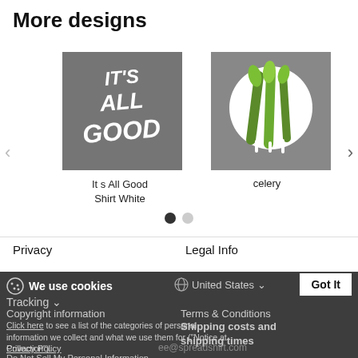More designs
[Figure (photo): It s All Good Shirt White product image — grey background with stylized white graffiti text reading IT'S ALL GOOD]
It s All Good Shirt White
[Figure (photo): celery product image — grey background with celery stalks on a white circle plate with dripping paint effect]
celery
Privacy
Legal Info
We use cookies
United States
Tracking
Copyright information
Click here to see a list of the categories of personal information we collect and what we use them for ("Notice at Collection").
Terms & Conditions
Shipping costs and shipping times
Privacy Policy
Do Not Sell My Personal Information
By using this website, I agree to the Terms and Conditions